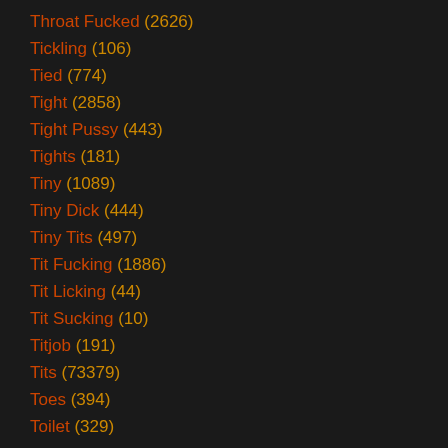Throat Fucked (2626)
Tickling (106)
Tied (774)
Tight (2858)
Tight Pussy (443)
Tights (181)
Tiny (1089)
Tiny Dick (444)
Tiny Tits (497)
Tit Fucking (1886)
Tit Licking (44)
Tit Sucking (10)
Titjob (191)
Tits (73379)
Toes (394)
Toilet (329)